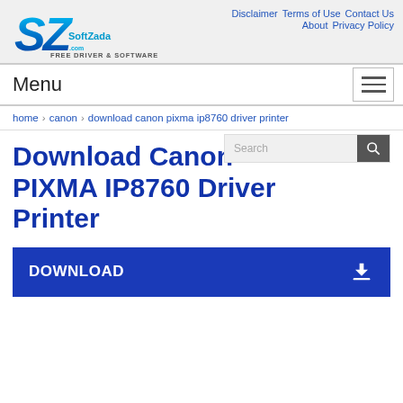SofZada.com FREE DRIVER & SOFTWARE — Disclaimer | Terms of Use | Contact Us | About | Privacy Policy
Menu
home › canon › download canon pixma ip8760 driver printer
Download Canon PIXMA IP8760 Driver Printer
DOWNLOAD